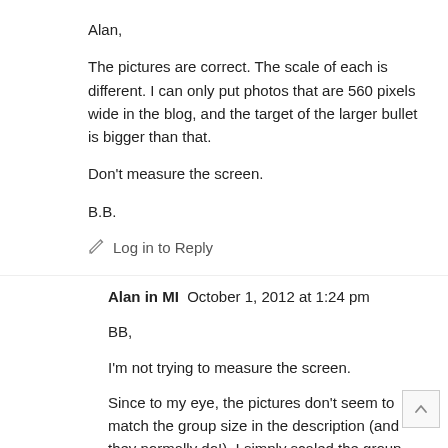Alan,
The pictures are correct. The scale of each is different. I can only put photos that are 560 pixels wide in the blog, and the target of the larger bullet is bigger than that.
Don't measure the screen.
B.B.
✏ Log in to Reply
Alan in MI  October 1, 2012 at 1:24 pm
BB,
I'm not trying to measure the screen.
Since to my eye, the pictures don't seem to match the group size in the description (and they normally do!), I simply scaled the group size relative to the bullet